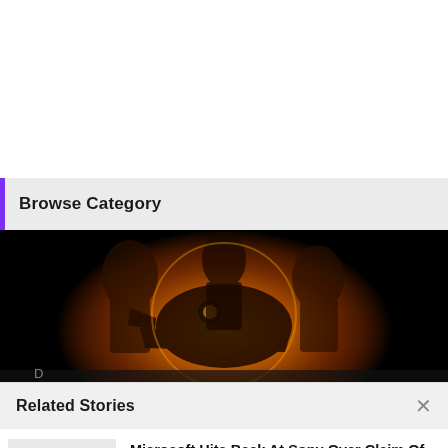Browse Category
[Figure (photo): Movie promotional image with Jurassic World Dominion style poster showing a glowing dinosaur skull against a dark background with characters]
Related Stories
[Figure (photo): Thumbnail showing PlayStation 5 white console and black Xbox Series X side by side on white background]
Microsoft Hits Back At Sony Over Claim Of Call of Duty Being A "Must Have"